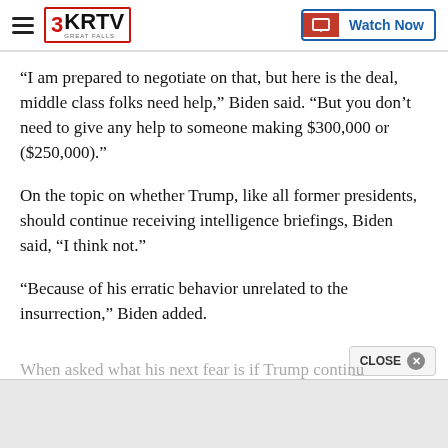3KRTV GREAT FALLS — Watch Now
“I am prepared to negotiate on that, but here is the deal, middle class folks need help,” Biden said. “But you don’t need to give any help to someone making $300,000 or ($250,000).”
On the topic on whether Trump, like all former presidents, should continue receiving intelligence briefings, Biden said, “I think not.”
“Because of his erratic behavior unrelated to the insurrection,” Biden added.
When asked what his next fear is if Trump continu…